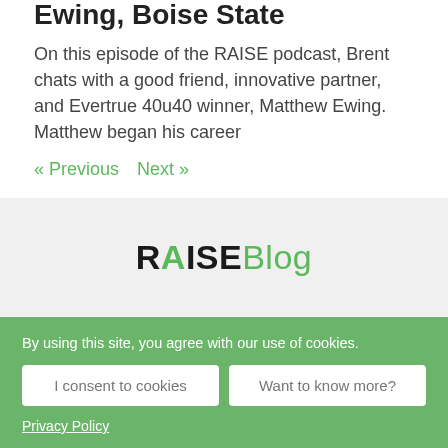Ewing, Boise State
On this episode of the RAISE podcast, Brent chats with a good friend, innovative partner, and Evertrue 40u40 winner, Matthew Ewing. Matthew began his career
« Previous
Next »
[Figure (logo): RAISE Blog logo with RAISE in bold dark text (A in green) and Blog in green]
By using this site, you agree with our use of cookies.
I consent to cookies
Want to know more?
Privacy Policy